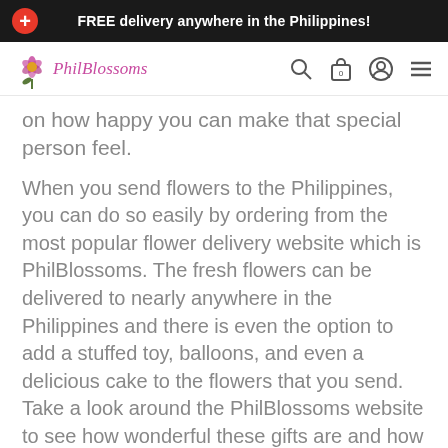FREE delivery anywhere in the Philippines!
[Figure (logo): PhilBlossoms logo with flower icon and stylized pink italic text]
on how happy you can make that special person feel.
When you send flowers to the Philippines, you can do so easily by ordering from the most popular flower delivery website which is PhilBlossoms. The fresh flowers can be delivered to nearly anywhere in the Philippines and there is even the option to add a stuffed toy, balloons, and even a delicious cake to the flowers that you send. Take a look around the PhilBlossoms website to see how wonderful these gifts are and how it is known to be one of the best ways to send beautiful gifts to the Philippines.
[Figure (infographic): Social media share icons: Facebook, Twitter, Pinterest in red/orange color]